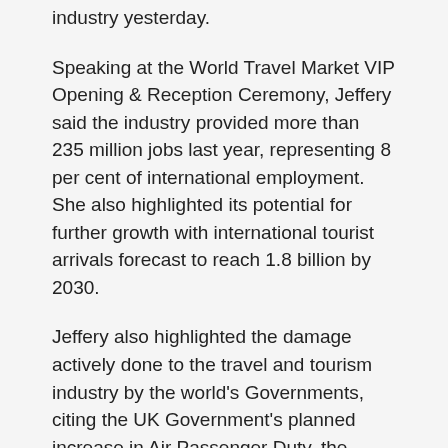industry yesterday.
Speaking at the World Travel Market VIP Opening & Reception Ceremony, Jeffery said the industry provided more than 235 million jobs last year, representing 8 per cent of international employment. She also highlighted its potential for further growth with international tourist arrivals forecast to reach 1.8 billion by 2030.
Jeffery also highlighted the damage actively done to the travel and tourism industry by the world's Governments, citing the UK Government's planned increase in Air Passenger Duty, the fourth in five years, as well as the US Government's proposed $25 billion raid on airline passengers in the US.
Jeffery said: “While the underlying trend is one of growth for the travel and tourism industry, Governments around the world have it in their power to